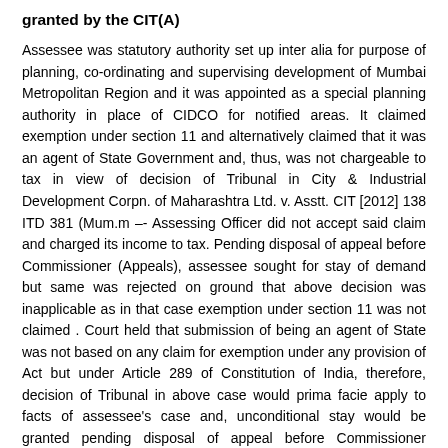granted by the CIT(A)
Assessee was statutory authority set up inter alia for purpose of planning, co-ordinating and supervising development of Mumbai Metropolitan Region and it was appointed as a special planning authority in place of CIDCO for notified areas. It claimed exemption under section 11 and alternatively claimed that it was an agent of State Government and, thus, was not chargeable to tax in view of decision of Tribunal in City & Industrial Development Corpn. of Maharashtra Ltd. v. Asstt. CIT [2012] 138 ITD 381 (Mum.m –- Assessing Officer did not accept said claim and charged its income to tax. Pending disposal of appeal before Commissioner (Appeals), assessee sought for stay of demand but same was rejected on ground that above decision was inapplicable as in that case exemption under section 11 was not claimed . Court held that submission of being an agent of State was not based on any claim for exemption under any provision of Act but under Article 289 of Constitution of India, therefore, decision of Tribunal in above case would prima facie apply to facts of assessee's case and, unconditional stay would be granted pending disposal of appeal before Commissioner (Appeals). (AY. 2011-12)
Mumbai Metropolitan Region Development Authority v. Dy. CIT